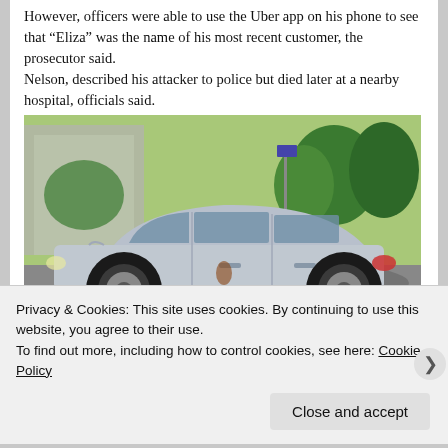However, officers were able to use the Uber app on his phone to see that “Eliza” was the name of his most recent customer, the prosecutor said.
Nelson, described his attacker to police but died later at a nearby hospital, officials said.
[Figure (photo): A silver/grey sedan car parked on a street with trees and buildings in the background. The car appears to have some marks on its door. A person in dark clothing is visible in the background.]
Privacy & Cookies: This site uses cookies. By continuing to use this website, you agree to their use.
To find out more, including how to control cookies, see here: Cookie Policy
Close and accept